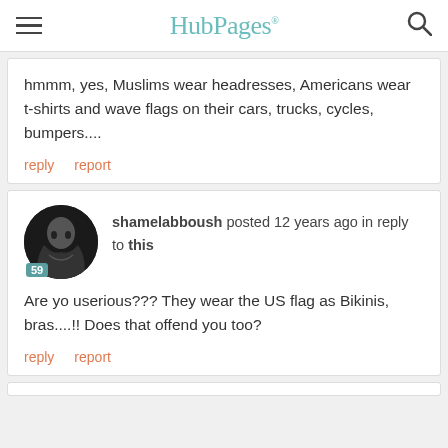HubPages
hmmm, yes, Muslims wear headresses, Americans wear t-shirts and wave flags on their cars, trucks, cycles, bumpers....
reply   report
shamelabboush posted 12 years ago in reply to this
Are yo userious??? They wear the US flag as Bikinis, bras....!! Does that offend you too?
reply   report